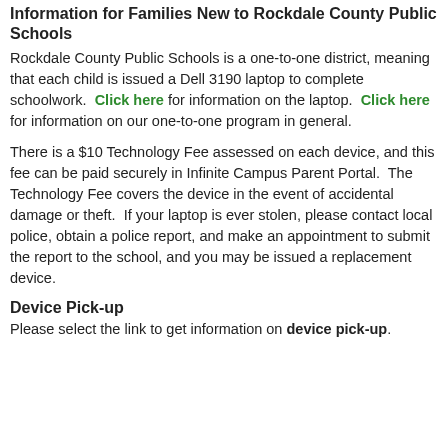Information for Families New to Rockdale County Public Schools
Rockdale County Public Schools is a one-to-one district, meaning that each child is issued a Dell 3190 laptop to complete schoolwork. Click here for information on the laptop. Click here for information on our one-to-one program in general.
There is a $10 Technology Fee assessed on each device, and this fee can be paid securely in Infinite Campus Parent Portal. The Technology Fee covers the device in the event of accidental damage or theft. If your laptop is ever stolen, please contact local police, obtain a police report, and make an appointment to submit the report to the school, and you may be issued a replacement device.
Device Pick-up
Please select the link to get information on device pick-up.